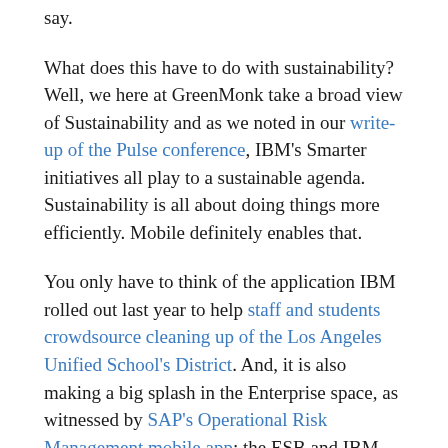say.
What does this have to do with sustainability? Well, we here at GreenMonk take a broad view of Sustainability and as we noted in our write-up of the Pulse conference, IBM’s Smarter initiatives all play to a sustainable agenda. Sustainability is all about doing things more efficiently. Mobile definitely enables that.
You only have to think of the application IBM rolled out last year to help staff and students crowdsource cleaning up of the Los Angeles Unified School’s District. And, it is also making a big splash in the Enterprise space, as witnessed by SAP’s Operational Risk Management mobile app; the ESB and IBM mobile app to help finding and scheduling charging of electric vehicles in Ireland and many similar initiatives.
And there’s also social– I wrote a blog post last